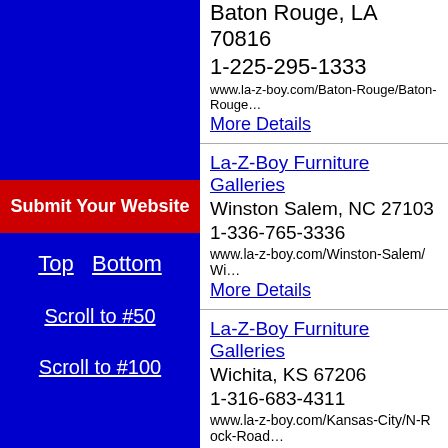Submit Your Website
Top   Bottom
Scroll to #50
Scroll to #100
La-Z-Boy Furniture Galleries
Baton Rouge, LA 70816
1-225-295-1333
www.la-z-boy.com/Baton-Rouge/Baton-Rouge
More Details
La-Z-Boy Furniture Galleries
Winston Salem, NC 27103
1-336-765-3336
www.la-z-boy.com/Winston-Salem/Wi...
More Details
La-Z-Boy Furniture Galleries
Wichita, KS 67206
1-316-683-4311
www.la-z-boy.com/Kansas-City/N-Rock-Road...
More Details
La-Z-Boy Furniture Galleries
Brentwood, MO 63144
1-314-...